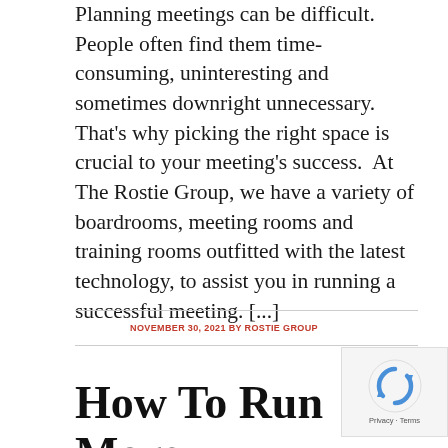Planning meetings can be difficult. People often find them time-consuming, uninteresting and sometimes downright unnecessary. That's why picking the right space is crucial to your meeting's success.  At The Rostie Group, we have a variety of boardrooms, meeting rooms and training rooms outfitted with the latest technology, to assist you in running a successful meeting. [...]
NOVEMBER 30, 2021 BY ROSTIE GROUP
How To Run More